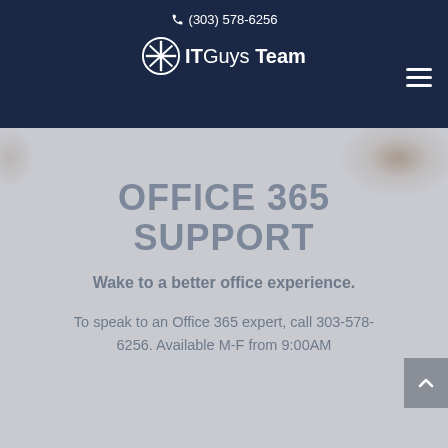(303) 578-6256
[Figure (logo): ITGuys Team logo with circular icon and text]
OFFICE 365 SUPPORT
Wake to a better office experience.
To speak to an Office 365 expert, call 303-578-6256. Available M-F from 9:00AM